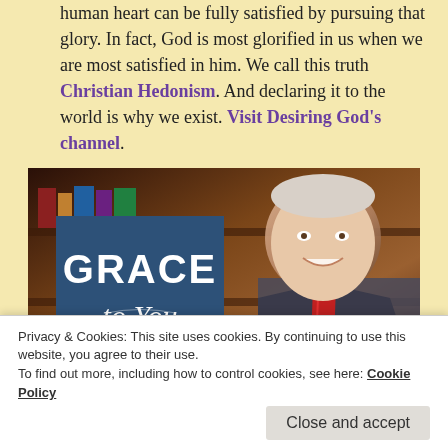human heart can be fully satisfied by pursuing that glory. In fact, God is most glorified in us when we are most satisfied in him. We call this truth Christian Hedonism. And declaring it to the world is why we exist. Visit Desiring God's channel.
[Figure (photo): Grace to You logo (white text on dark blue background) overlaid on a photo of a smiling older man in a suit with a bookshelf background]
Privacy & Cookies: This site uses cookies. By continuing to use this website, you agree to their use.
To find out more, including how to control cookies, see here: Cookie Policy
Close and accept
Grace to You is the media ministry of John